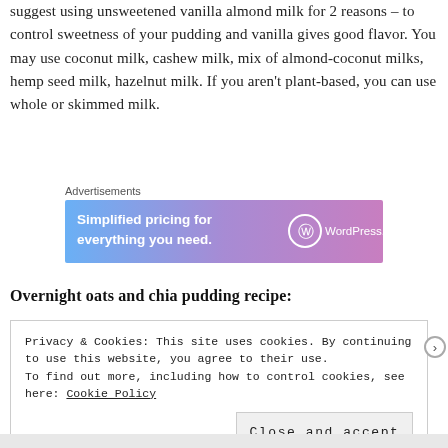suggest using unsweetened vanilla almond milk for 2 reasons – to control sweetness of your pudding and vanilla gives good flavor. You may use coconut milk, cashew milk, mix of almond-coconut milks, hemp seed milk, hazelnut milk. If you aren't plant-based, you can use whole or skimmed milk.
[Figure (other): WordPress.com advertisement banner: 'Simplified pricing for everything you need.' with WordPress logo]
Overnight oats and chia pudding recipe:
Privacy & Cookies: This site uses cookies. By continuing to use this website, you agree to their use.
To find out more, including how to control cookies, see here: Cookie Policy

Close and accept